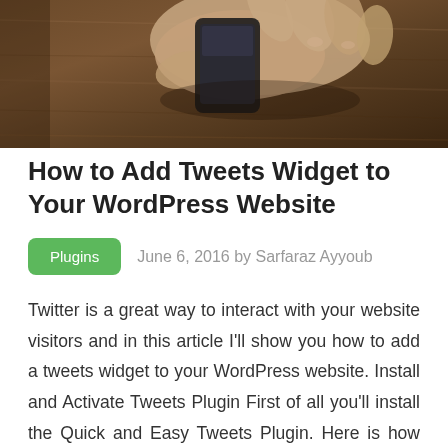[Figure (photo): A hand holding a smartphone over a dark wooden table background, photographed from above.]
How to Add Tweets Widget to Your WordPress Website
Plugins   June 6, 2016 by Sarfaraz Ayyoub
Twitter is a great way to interact with your website visitors and in this article I'll show you how to add a tweets widget to your WordPress website. Install and Activate Tweets Plugin First of all you'll install the Quick and Easy Tweets Plugin. Here is how you can do this: In WordPress Dashboard, go to Plugins Menu [...]